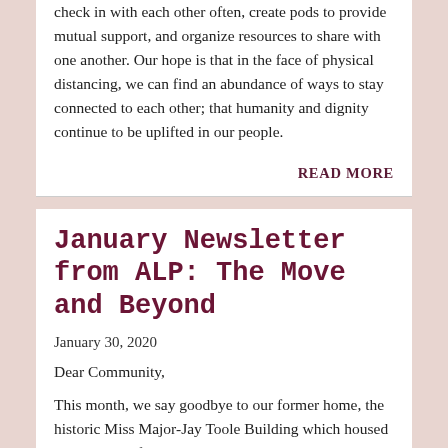check in with each other often, create pods to provide mutual support, and organize resources to share with one another. Our hope is that in the face of physical distancing, we can find an abundance of ways to stay connected to each other; that humanity and dignity continue to be uplifted in our people.
READ MORE
January Newsletter from ALP: The Move and Beyond
January 30, 2020
Dear Community,
This month, we say goodbye to our former home, the historic Miss Major-Jay Toole Building which housed generations of organizers and held grassroots groups focusing on manifesting social change for our communities. Each year, fewer of us have been able to sustain there because of the escalating cost of rent